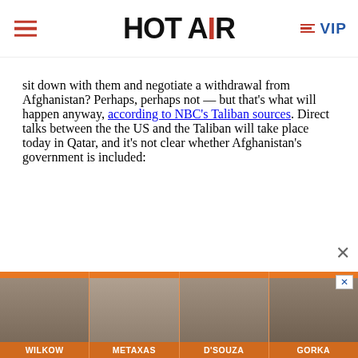HOT AIR | VIP
sit down with them and negotiate a withdrawal from Afghanistan? Perhaps, perhaps not — but that's what will happen anyway, according to NBC's Taliban sources. Direct talks between the the US and the Taliban will take place today in Qatar, and it's not clear whether Afghanistan's government is included:
[Figure (photo): Advertisement banner featuring four pundits: Wilkow, Metaxas, D'Souza, Gorka on orange background]